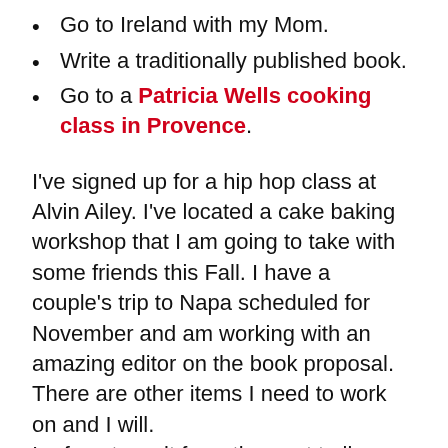Go to Ireland with my Mom.
Write a traditionally published book.
Go to a Patricia Wells cooking class in Provence.
I've signed up for a hip hop class at Alvin Ailey. I've located a cake baking workshop that I am going to take with some friends this Fall. I have a couple's trip to Napa scheduled for November and am working with an amazing editor on the book proposal. There are other items I need to work on and I will.
I refuse to wait for retirement to live my dreams and my prayer is that you won't wait either.